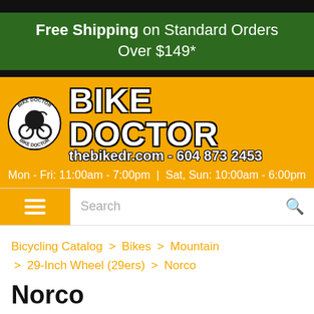Free Shipping on Standard Orders Over $149*
[Figure (logo): Bike Doctor logo with circular badge showing cyclist, brand name BIKE DOCTOR, website thebikedr.com and phone 604 873 2453]
Mon - Fri: 11:00am - 7:00pm | Sat, Sun: 10:00am - 6:00pm
Search
Bicycling Catalog > Bikes > Mountain > 29-Inch Wheel (29ers) > Norco
Norco